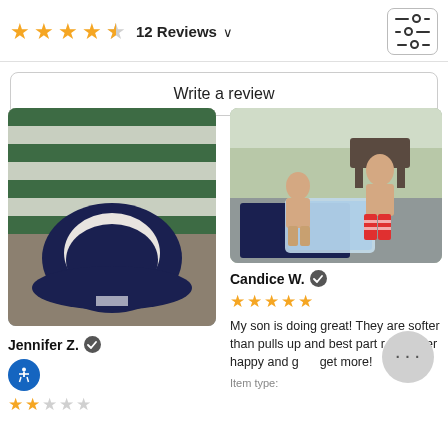4.5 stars — 12 Reviews
Write a review
[Figure (photo): Close-up photo of a navy blue bucket hat with green and white striped towel in background]
Jennifer Z. ✓
2 stars
[Figure (photo): Two young shirtless boys standing outdoors next to a plastic bin with water]
Candice W. ✓
5 stars
My son is doing great! They are softer than pulls up and best part r   e super happy and g      get more!
Item type: